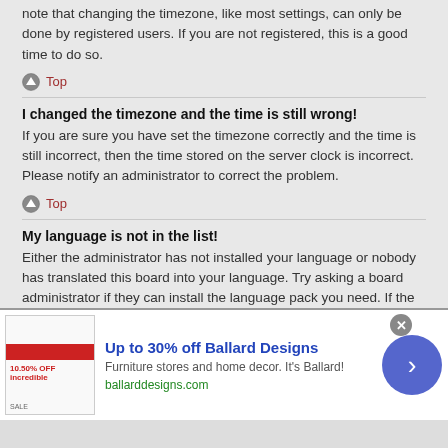note that changing the timezone, like most settings, can only be done by registered users. If you are not registered, this is a good time to do so.
Top
I changed the timezone and the time is still wrong!
If you are sure you have set the timezone correctly and the time is still incorrect, then the time stored on the server clock is incorrect. Please notify an administrator to correct the problem.
Top
My language is not in the list!
Either the administrator has not installed your language or nobody has translated this board into your language. Try asking a board administrator if they can install the language pack you need. If the language pack does not exist, feel free to create a new translation. More information can be found at the phpBB® website.
[Figure (screenshot): Advertisement banner for Ballard Designs: Up to 30% off Ballard Designs. Furniture stores and home decor. It's Ballard! ballarddesigns.com]